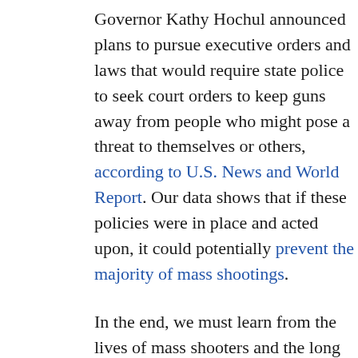Governor Kathy Hochul announced plans to pursue executive orders and laws that would require state police to seek court orders to keep guns away from people who might pose a threat to themselves or others, according to U.S. News and World Report. Our data shows that if these policies were in place and acted upon, it could potentially prevent the majority of mass shootings.
In the end, we must learn from the lives of mass shooters and the long and tragic history of mass shootings in America to do everything possible to stop the next mass shooting before it occurs.